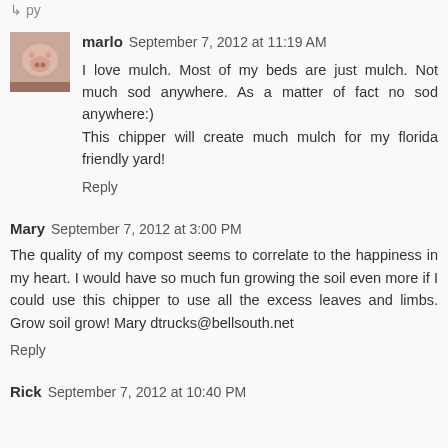Reply
marlo  September 7, 2012 at 11:19 AM
I love mulch. Most of my beds are just mulch. Not much sod anywhere. As a matter of fact no sod anywhere:) This chipper will create much mulch for my florida friendly yard!
Reply
Mary  September 7, 2012 at 3:00 PM
The quality of my compost seems to correlate to the happiness in my heart. I would have so much fun growing the soil even more if I could use this chipper to use all the excess leaves and limbs. Grow soil grow! Mary dtrucks@bellsouth.net
Reply
Rick  September 7, 2012 at 10:40 PM